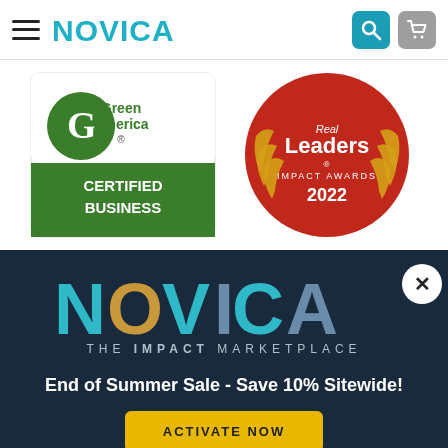NOVICA
[Figure (logo): Green America Certified Business badge - green and white logo with leaf icon and text 'Green America. CERTIFIED BUSINESS']
[Figure (logo): Real Leaders Impact Awards 2022 - red circular badge with gold laurel wreath and white text]
[Figure (logo): NOVICA - THE IMPACT MARKETPLACE logo in teal, gold, and blue on dark navy background]
End of Summer Sale - Save 10% Sitewide!
ACTIVATE NOW